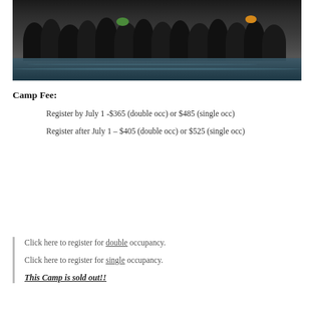[Figure (photo): Group photo of swimmers in black wetsuits standing in water, some wearing colorful swim caps (green, orange), smiling at the camera]
Camp Fee:
Register by July 1 -$365 (double occ) or $485 (single occ)
Register after July 1 – $405 (double occ) or $525 (single occ)
Click here to register for double occupancy.
Click here to register for single occupancy.
This Camp is sold out!!